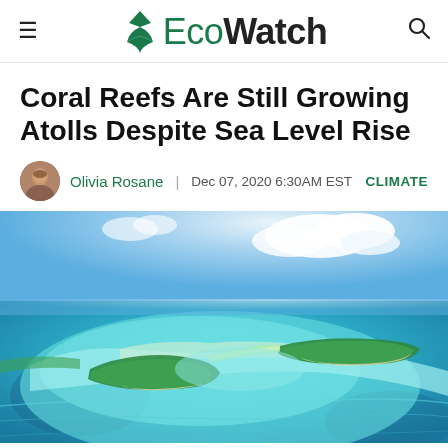EcoWatch
Coral Reefs Are Still Growing Atolls Despite Sea Level Rise
Olivia Rosane | Dec 07, 2020 6:30AM EST  CLIMATE
[Figure (photo): Aerial photograph of a coral atoll with turquoise waters, showing low-lying islands surrounded by shallow reef formations against a blue sky.]